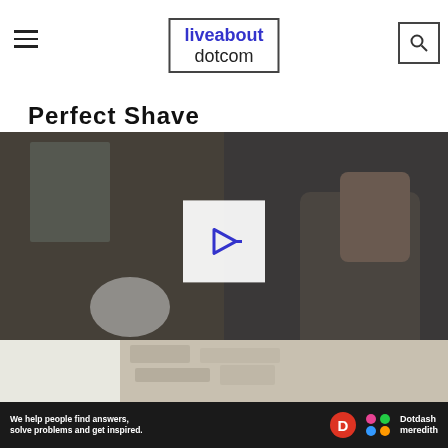liveabout dotcom
Perfect Shave
[Figure (photo): Man shaving in front of mirror with shaving cream on face, another man visible in mirror reflection; white play button arrow overlay in center; text 'Tap to Play' overlaid near bottom]
[Figure (photo): Partial view of advertisement showing woman with arms raised against stone wall background]
[Figure (infographic): Dotdash Meredith advertisement banner: 'We help people find answers, solve problems and get inspired.' with Dotdash Meredith logo]